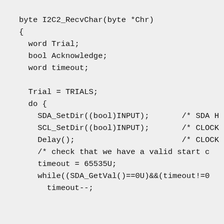byte I2C2_RecvChar(byte *Chr)
{
  word Trial;
  bool Acknowledge;
  word timeout;

  Trial = TRIALS;
  do {
    SDA_SetDir((bool)INPUT);       /* SDA H
    SCL_SetDir((bool)INPUT);       /* CLOCK
    Delay();                       /* CLOCK
    /* check that we have a valid start c
    timeout = 65535U;
    while((SDA_GetVal()==0U)&&(timeout!=0
      timeout--;